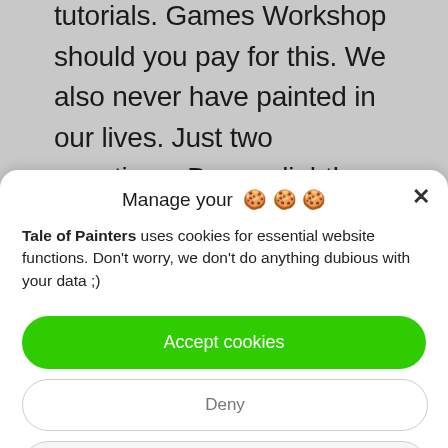tutorials. Games Workshop should you pay for this. We also never have painted in our lives. Just two questions: Do you lightly thin the paints as other painting-guides recommend? Which fine detail
Manage your 🍪🍪🍪
Tale of Painters uses cookies for essential website functions. Don't worry, we don't do anything dubious with your data ;)
Accept cookies
Deny
View preferences